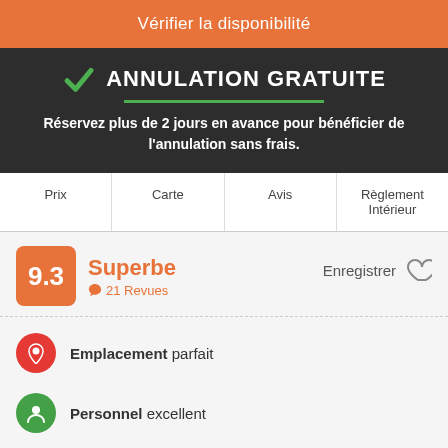Vérifier la disponibilité
ANNULATION GRATUITE
Réservez plus de 2 jours en avance pour bénéficier de l'annulation sans frais.
Prix | Carte | Avis | Règlement Intérieur
9.3 Superbe 21 Revues
Enregistrer
Emplacement parfait
Personnel excellent
Excellente propreté
Art & Hostel next to Cervantes